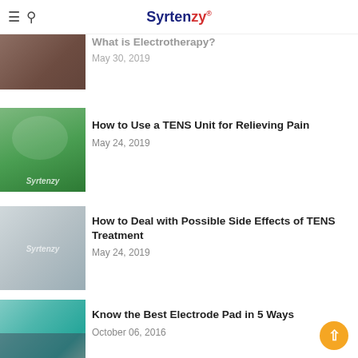Syrtenzy
[Figure (photo): Partial article thumbnail showing TENS device on wooden surface with Syrtenzy logo]
What is Electrotherapy?
May 30, 2019
[Figure (photo): Woman lying on grass smiling with Syrtenzy watermark logo]
How to Use a TENS Unit for Relieving Pain
May 24, 2019
[Figure (photo): Close-up of concrete or stone texture with Syrtenzy watermark logo]
How to Deal with Possible Side Effects of TENS Treatment
May 24, 2019
[Figure (photo): Woman exercising or doing physical therapy with Syrtenzy watermark]
Know the Best Electrode Pad in 5 Ways
October 06, 2016